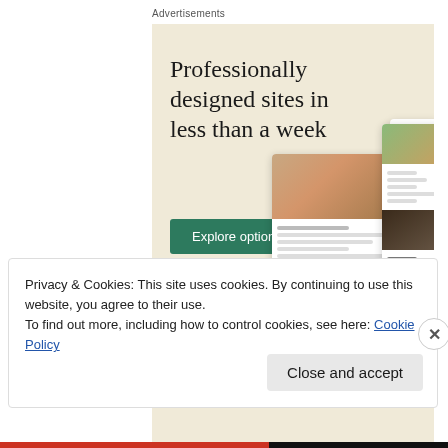Advertisements
[Figure (illustration): WordPress advertisement banner with beige/cream background. Large serif text reads 'Professionally designed sites in less than a week'. Green 'Explore options' button. WordPress logo bottom left. Mockup screens showing food/restaurant website designs on the right side.]
REPORT THIS AD
Privacy & Cookies: This site uses cookies. By continuing to use this website, you agree to their use.
To find out more, including how to control cookies, see here: Cookie Policy
Close and accept